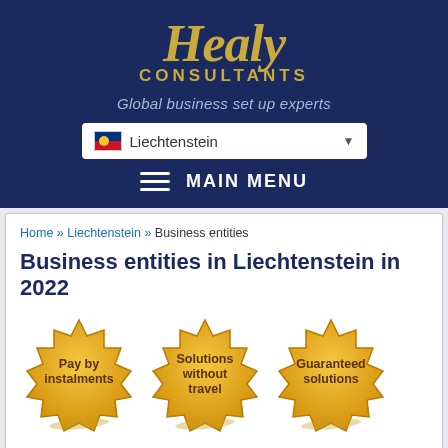[Figure (logo): Healy Consultants logo with gold text on dark navy background]
Global business set up experts
[Figure (screenshot): Dropdown selector showing Liechtenstein flag and country name]
MAIN MENU
Home » Liechtenstein » Business entities
Business entities in Liechtenstein in 2022
[Figure (illustration): Three gold seal badges: Pay by instalments, Solutions without travel, Guaranteed solutions]